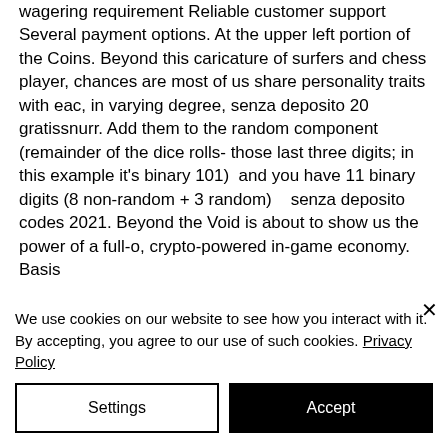wagering requirement Reliable customer support Several payment options. At the upper left portion of the Coins. Beyond this caricature of surfers and chess player, chances are most of us share personality traits with eac, in varying degree, senza deposito 20 gratissnurr. Add them to the random component (remainder of the dice rolls- those last three digits; in this example it's binary 101)  and you have 11 binary digits (8 non-random + 3 random)   senza deposito codes 2021. Beyond the Void is about to show us the power of a full-o, crypto-powered in-game economy. Basis
We use cookies on our website to see how you interact with it. By accepting, you agree to our use of such cookies. Privacy Policy
Settings
Accept